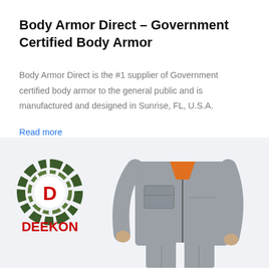Body Armor Direct – Government Certified Body Armor
Body Armor Direct is the #1 supplier of Government certified body armor to the general public and is manufactured and designed in Sunrise, FL, U.S.A.
Read more
[Figure (logo): DEEKON brand logo with camouflage circular target design and red letter D in center, with DEEKON text in red below. Next to it is a headless mannequin wearing a grey military-style jacket with orange collar and matching grey trousers.]